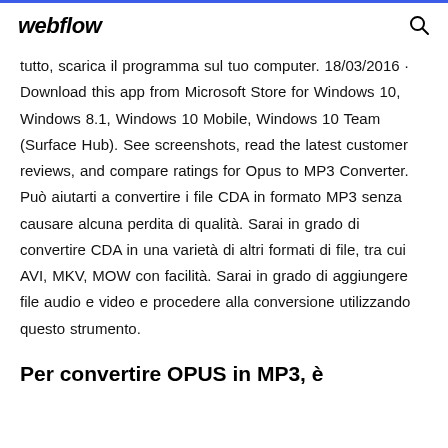webflow
tutto, scarica il programma sul tuo computer. 18/03/2016 · Download this app from Microsoft Store for Windows 10, Windows 8.1, Windows 10 Mobile, Windows 10 Team (Surface Hub). See screenshots, read the latest customer reviews, and compare ratings for Opus to MP3 Converter. Può aiutarti a convertire i file CDA in formato MP3 senza causare alcuna perdita di qualità. Sarai in grado di convertire CDA in una varietà di altri formati di file, tra cui AVI, MKV, MOW con facilità. Sarai in grado di aggiungere file audio e video e procedere alla conversione utilizzando questo strumento.
Per convertire OPUS in MP3, è